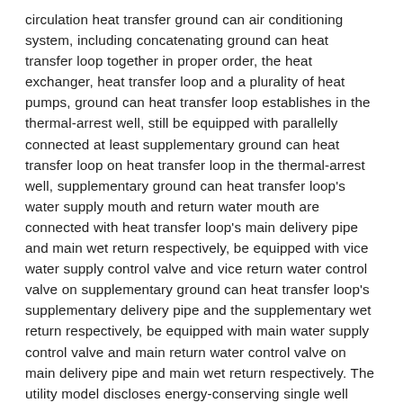circulation heat transfer ground can air conditioning system, including concatenating ground can heat transfer loop together in proper order, the heat exchanger, heat transfer loop and a plurality of heat pumps, ground can heat transfer loop establishes in the thermal-arrest well, still be equipped with parallelly connected at least supplementary ground can heat transfer loop on heat transfer loop in the thermal-arrest well, supplementary ground can heat transfer loop's water supply mouth and return water mouth are connected with heat transfer loop's main delivery pipe and main wet return respectively, be equipped with vice water supply control valve and vice return water control valve on supplementary ground can heat transfer loop's supplementary delivery pipe and the supplementary wet return respectively, be equipped with main water supply control valve and main return water control valve on main delivery pipe and main wet return respectively. The utility model discloses energy-conserving single well circulation heat transfer ground can air conditioning system, when only needing a small amount of heat exchange indoor, can need not open high-power immersible pump, only just can realize the warm effect of indoor cooling through opening supplementary ground can